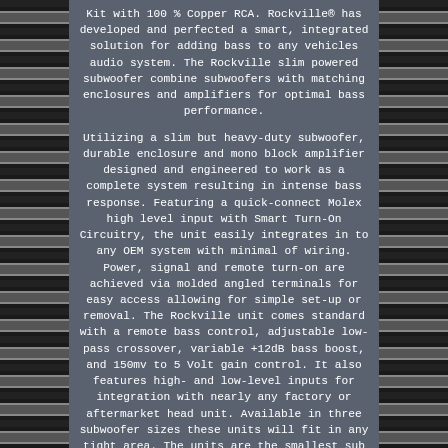Kit with 100 % Copper RCA. Rockville® has developed and perfected a smart, integrated solution for adding bass to any vehicles audio system. The Rockville slim powered subwoofer combine subwoofers with matching enclosures and amplifiers for optimal bass performance.

Utilizing a slim but heavy-duty subwoofer, durable enclosure and mono block amplifier designed and engineered to work as a complete system resulting in intense bass response. Featuring a quick-connect Molex high level input with Smart Turn-On Circuitry, the unit easily integrates in to any OEM system with minimal of wiring. Power, signal and remote turn-on are achieved via molded angled terminals for easy access allowing for simple set-up or removal. The Rockville unit comes standard with a remote bass control, adjustable low-pass crossover, variable +12dB bass boost, and 150mv to 5 Volt gain control. It also features high- and low-level inputs for integration with nearly any factory or aftermarket head unit. Available in three subwoofer sizes these units will fit in any tight area. The units are the smallest sub boxes designed by Rockville, but dont let their small size fool you, they are ready to explode with high power - super intense bass